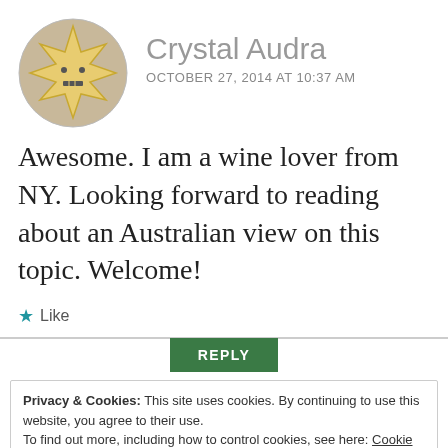[Figure (illustration): Circular avatar with a cartoon star character with a face, yellow/gold color on tan background]
Crystal Audra
OCTOBER 27, 2014 AT 10:37 AM
Awesome. I am a wine lover from NY. Looking forward to reading about an Australian view on this topic. Welcome!
★ Like
REPLY
Privacy & Cookies: This site uses cookies. By continuing to use this website, you agree to their use.
To find out more, including how to control cookies, see here: Cookie Policy
Close and accept
hearing from you in your posts. 😊